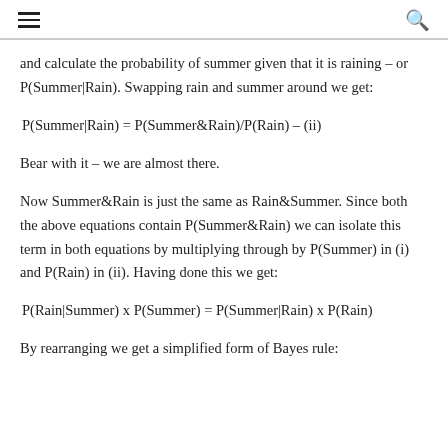☰  🔍
and calculate the probability of summer given that it is raining – or P(Summer|Rain). Swapping rain and summer around we get:
Bear with it – we are almost there.
Now Summer&Rain is just the same as Rain&Summer. Since both the above equations contain P(Summer&Rain) we can isolate this term in both equations by multiplying through by P(Summer) in (i) and P(Rain) in (ii). Having done this we get:
By rearranging we get a simplified form of Bayes rule: